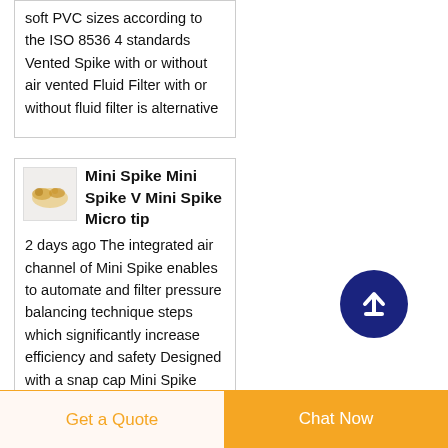soft PVC sizes according to the ISO 8536 4 standards Vented Spike with or without air vented Fluid Filter with or without fluid filter is alternative
Mini Spike Mini Spike V Mini Spike Micro tip
2 days ago The integrated air channel of Mini Spike enables to automate and filter pressure balancing technique steps which significantly increase efficiency and safety Designed with a snap cap Mini Spike
Get a Quote
Chat Now